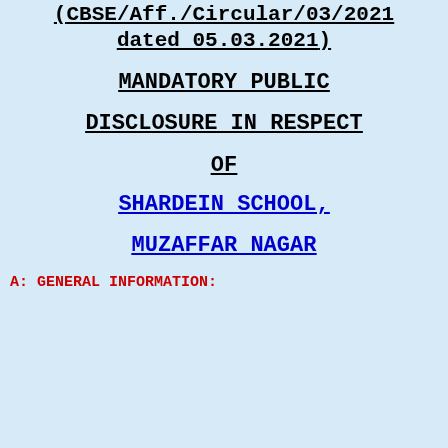(CBSE/Aff./Circular/03/2021 dated 05.03.2021)
MANDATORY PUBLIC DISCLOSURE IN RESPECT OF
SHARDEIN SCHOOL, MUZAFFAR NAGAR
A: GENERAL INFORMATION: